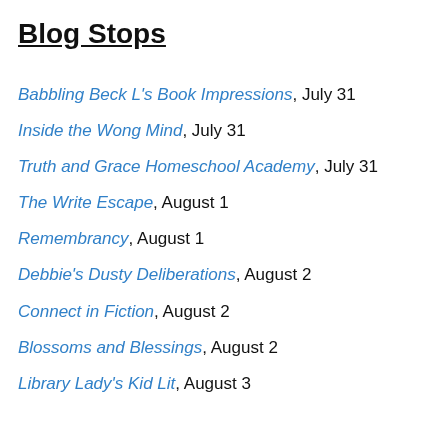Blog Stops
Babbling Beck L's Book Impressions, July 31
Inside the Wong Mind, July 31
Truth and Grace Homeschool Academy, July 31
The Write Escape, August 1
Remembrancy, August 1
Debbie's Dusty Deliberations, August 2
Connect in Fiction, August 2
Blossoms and Blessings, August 2
Library Lady's Kid Lit, August 3